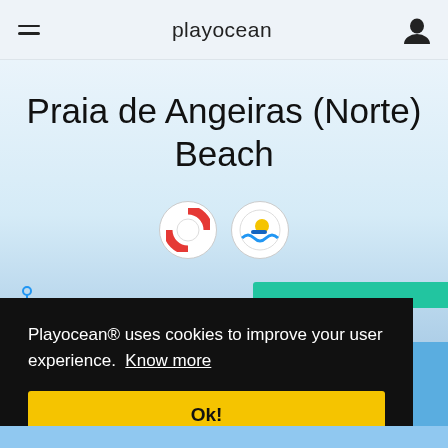playocean
Praia de Angeiras (Norte) Beach
[Figure (illustration): Two circular badge icons: a lifebuoy (red and white) and a logo badge (colorful illustration)]
Playocean® uses cookies to improve your user experience.  Know more
Ok!